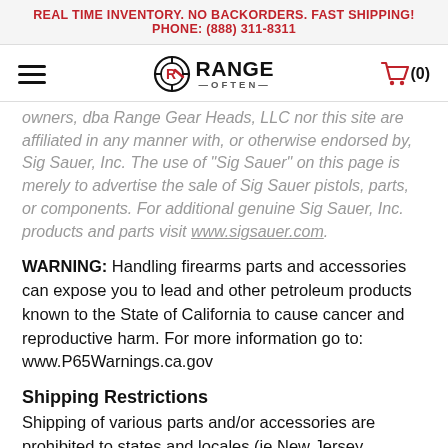REAL TIME INVENTORY. NO BACKORDERS. FAST SHIPPING!
PHONE: (888) 311-8311
[Figure (logo): Range Often logo with crosshair circle icon and text 'RANGE OFTEN']
...owners, dba Range Gear Heads, LLC nor this site are affiliated in any manner with, or otherwise endorsed by, Sig Sauer, Inc. The use of "Sig Sauer" on this page is merely to advertise the sale of Sig Sauer pistols, parts, or components. For additional genuine Sig Sauer, Inc. products and parts visit www.sigsauer.com.
WARNING: Handling firearms parts and accessories can expose you to lead and other petroleum products known to the State of California to cause cancer and reproductive harm. For more information go to: www.P65Warnings.ca.gov
Shipping Restrictions
Shipping of various parts and/or accessories are prohibited to states and locales (ie New Jersey,